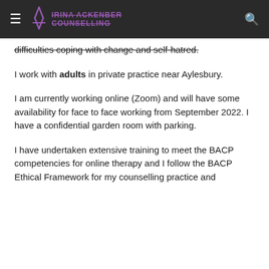≡ [Logo] [Site Name] [Search]
difficulties coping with change and self-hatred.
I work with adults in private practice near Aylesbury.
I am currently working online (Zoom) and will have some availability for face to face working from September 2022. I have a confidential garden room with parking.
I have undertaken extensive training to meet the BACP competencies for online therapy and I follow the BACP Ethical Framework for my counselling practice and